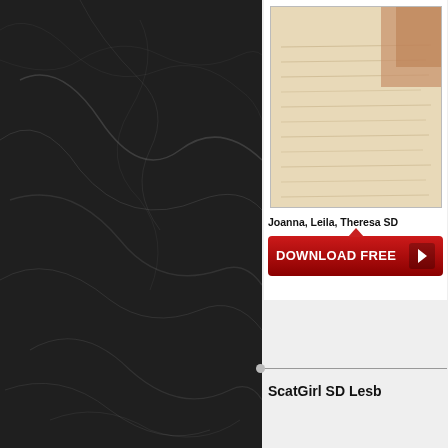[Figure (photo): Dark black marble texture background with white veining, filling the left portion of the page]
[Figure (photo): Thumbnail image of a parchment or document with handwritten/printed text, shown in a white card panel on the right]
Joanna, Leila, Theresa SD
[Figure (other): Red download button with text DOWNLOAD FREE and arrow icon]
ScatGirl SD Lesb